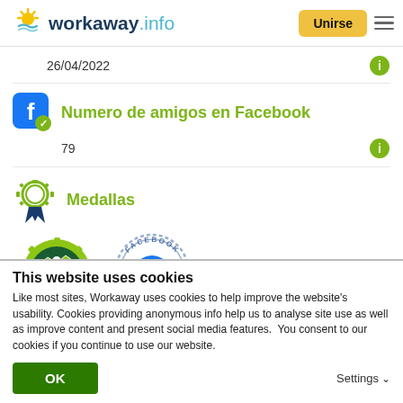[Figure (logo): Workaway.info logo with sun icon]
26/04/2022
Numero de amigos en Facebook
79
Medallas
[Figure (illustration): Pioneer badge medal (green gear/map design)]
[Figure (illustration): Facebook Verified badge (blue circular stamp)]
This website uses cookies
Like most sites, Workaway uses cookies to help improve the website's usability. Cookies providing anonymous info help us to analyse site use as well as improve content and present social media features.  You consent to our cookies if you continue to use our website.
OK
Settings